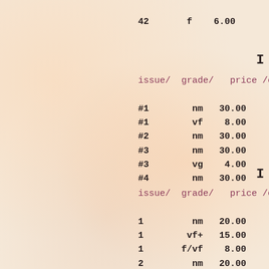| issue/ | grade/ | price | /comment |
| --- | --- | --- | --- |
| 42 | f | 6.00 |  |
| issue/ | grade/ | price | /comment |
| --- | --- | --- | --- |
| #1 | nm | 30.00 |  |
| #1 | vf | 8.00 |  |
| #2 | nm | 30.00 |  |
| #3 | nm | 30.00 |  |
| #3 | vg | 4.00 |  |
| #4 | nm | 30.00 |  |
| issue/ | grade/ | price | /comment |
| --- | --- | --- | --- |
| 1 | nm | 20.00 |  |
| 1 | vf+ | 15.00 |  |
| 1 | f/vf | 8.00 |  |
| 2 | nm | 20.00 |  |
| 2 | vf+ | 15.00 |  |
| 3 | f+ | 7.00 |  |
| 4 | nm | 20.00 |  |
| 5 | nm | 20.00 |  |
| 6 | nm | 20.00 |  |
| 7 | nm | 20.00 |  |
| 8 | nm | 20.00 |  |